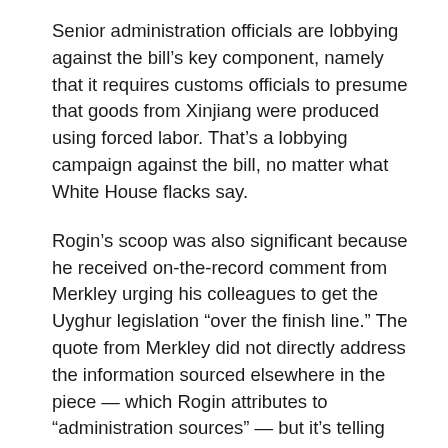Senior administration officials are lobbying against the bill's key component, namely that it requires customs officials to presume that goods from Xinjiang were produced using forced labor. That's a lobbying campaign against the bill, no matter what White House flacks say.
Rogin's scoop was also significant because he received on-the-record comment from Merkley urging his colleagues to get the Uyghur legislation “over the finish line.” The quote from Merkley did not directly address the information sourced elsewhere in the piece — which Rogin attributes to “administration sources” — but it's telling that Merkley opted to give a response for the column at all.
The piece also reveals that the lobbying campaign isn’t solely the John Kerry production that previous reports